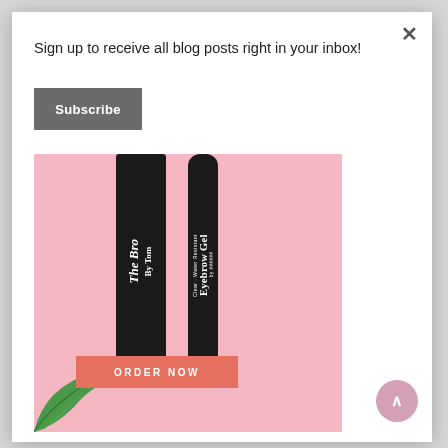Sign up to receive all blog posts right in your inbox!
Subscribe
[Figure (photo): Two black cosmetic tubes (The Bro and Clear Water Resistant Eyebrow Gel) on a pink background with green leaf in bottom-left corner and coral ORDER NOW button]
ORDER NOW